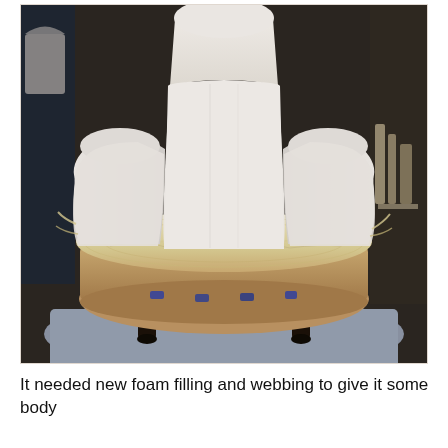[Figure (photo): A partially reupholstered vintage armchair in a workshop setting. The back, sides and arms are covered in white muslin/calico fabric. The seat cushion area is exposed showing yellow foam filling and burlap/hessian fabric underneath. The chair has dark turned wooden legs and sits on a drop cloth. Workshop tools and supplies visible in the background.]
It needed new foam filling and webbing to give it some body